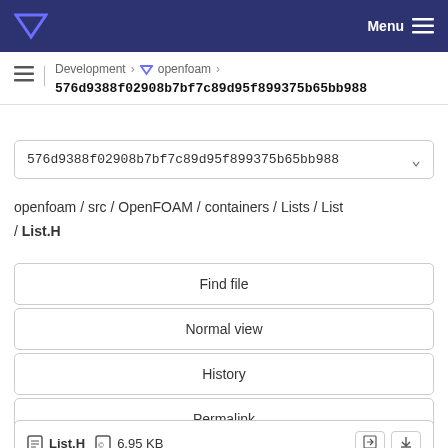Menu
Development > openfoam > 576d9388f02908b7bf7c89d95f899375b65bb988
576d9388f02908b7bf7c89d95f899375b65bb988
openfoam / src / OpenFOAM / containers / Lists / List / List.H
Find file
Normal view
History
Permalink
List.H  6.95 KB